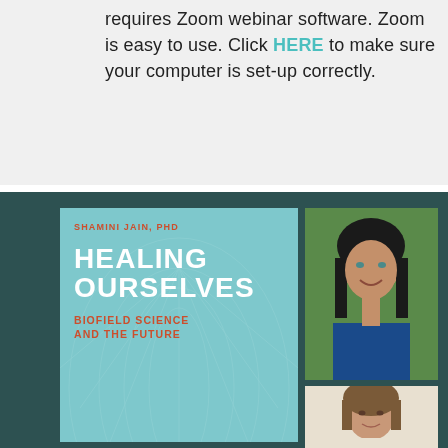requires Zoom webinar software. Zoom is easy to use. Click HERE to make sure your computer is set-up correctly.
[Figure (illustration): Book cover for 'Healing Ourselves: Biofield Science and the Future' by Shamini Jain, PhD, with teal background and white decorative web pattern, alongside two portrait photos of women]